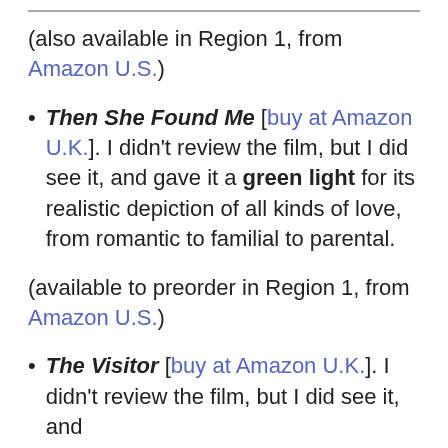(also available in Region 1, from Amazon U.S.)
Then She Found Me [buy at Amazon U.K.]. I didn't review the film, but I did see it, and gave it a green light for its realistic depiction of all kinds of love, from romantic to familial to parental.
(available to preorder in Region 1, from Amazon U.S.)
The Visitor [buy at Amazon U.K.]. I didn't review the film, but I did see it, and